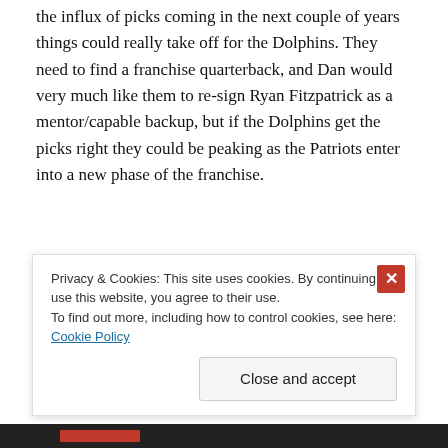the influx of picks coming in the next couple of years things could really take off for the Dolphins. They need to find a franchise quarterback, and Dan would very much like them to re-sign Ryan Fitzpatrick as a mentor/capable backup, but if the Dolphins get the picks right they could be peaking as the Patriots enter into a new phase of the franchise.
Given the Pittsburgh Steelers lost their franchise quarterback to injury in week two, their 8-8 record is very creditable, and Mike Tomlin answered those who
Privacy & Cookies: This site uses cookies. By continuing to use this website, you agree to their use.
To find out more, including how to control cookies, see here: Cookie Policy